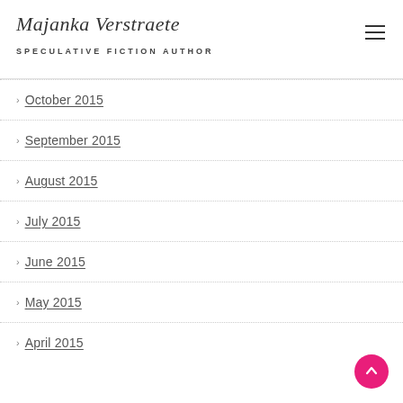Majanka Verstraete — SPECULATIVE FICTION AUTHOR
October 2015
September 2015
August 2015
July 2015
June 2015
May 2015
April 2015